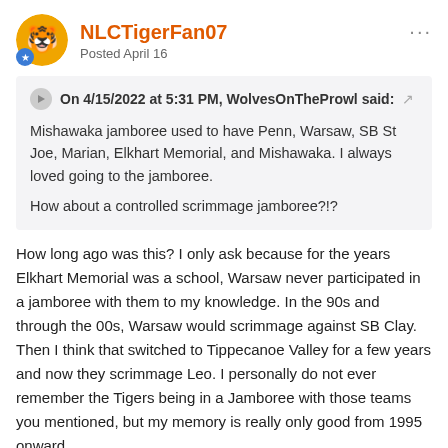NLCTigerFan07 — Posted April 16
On 4/15/2022 at 5:31 PM, WolvesOnTheProwl said: Mishawaka jamboree used to have Penn, Warsaw, SB St Joe, Marian, Elkhart Memorial, and Mishawaka. I always loved going to the jamboree.

How about a controlled scrimmage jamboree?!?
How long ago was this? I only ask because for the years Elkhart Memorial was a school, Warsaw never participated in a jamboree with them to my knowledge. In the 90s and through the 00s, Warsaw would scrimmage against SB Clay. Then I think that switched to Tippecanoe Valley for a few years and now they scrimmage Leo. I personally do not ever remember the Tigers being in a Jamboree with those teams you mentioned, but my memory is really only good from 1995 onward.